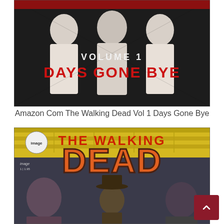[Figure (illustration): Comic book cover image: The Walking Dead Volume 1 Days Gone Bye — shows figures in white coats, red text 'VOLUME 1 DAYS GONE BYE' on a dark sketched background]
Amazon Com The Walking Dead Vol 1 Days Gone Bye
[Figure (illustration): Comic book cover: The Walking Dead Issue #1 by Image Comics — large orange/red 'THE WALKING DEAD DEAD' title lettering, sheriff character in center with hat, zombie figures on sides, yellow wood-panel background]